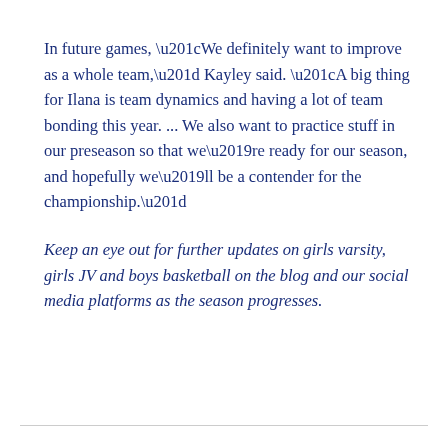In future games, “We definitely want to improve as a whole team,” Kayley said. “A big thing for Ilana is team dynamics and having a lot of team bonding this year. ... We also want to practice stuff in our preseason so that we’re ready for our season, and hopefully we’ll be a contender for the championship.”
Keep an eye out for further updates on girls varsity, girls JV and boys basketball on the blog and our social media platforms as the season progresses.